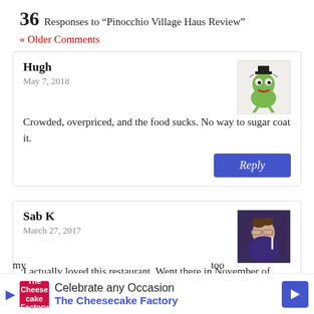36 Responses to “Pinocchio Village Haus Review”
« Older Comments
Hugh
May 7, 2018
Crowded, overpriced, and the food sucks. No way to sugar coat it.
Sab K
March 27, 2017
I actually loved this restaurant. Went there in November of 2013 (our last trip) on the day I had to take my two girls by myself as my son was sick and my [husband was] too busy
[Figure (infographic): Advertisement for The Cheesecake Factory: Celebrate any Occasion]